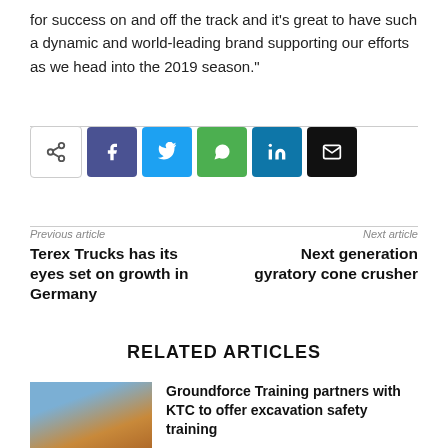for success on and off the track and it's great to have such a dynamic and world-leading brand supporting our efforts as we head into the 2019 season."
[Figure (other): Social sharing buttons row: share icon, Facebook, Twitter, WhatsApp, LinkedIn, Email]
Previous article
Terex Trucks has its eyes set on growth in Germany
Next article
Next generation gyratory cone crusher
RELATED ARTICLES
Groundforce Training partners with KTC to offer excavation safety training